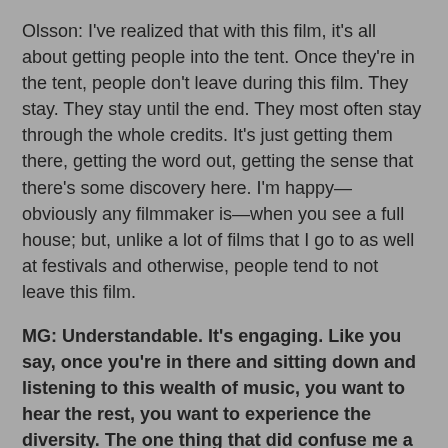Olsson: I've realized that with this film, it's all about getting people into the tent. Once they're in the tent, people don't leave during this film. They stay. They stay until the end. They most often stay through the whole credits. It's just getting them there, getting the word out, getting the sense that there's some discovery here. I'm happy—obviously any filmmaker is—when you see a full house; but, unlike a lot of films that I go to as well at festivals and otherwise, people tend to not leave this film.
MG: Understandable. It's engaging. Like you say, once you're in there and sitting down and listening to this wealth of music, you want to hear the rest, you want to experience the diversity. The one thing that did confuse me a bit was your choice not to explain more fully the presence of the politicians and corporate figureheads whom you interviewed between the musical acts. It wasn't clear to me that there were two events going on, the music festival, and the symposium.
Olsson: They were all part of the same festival. The